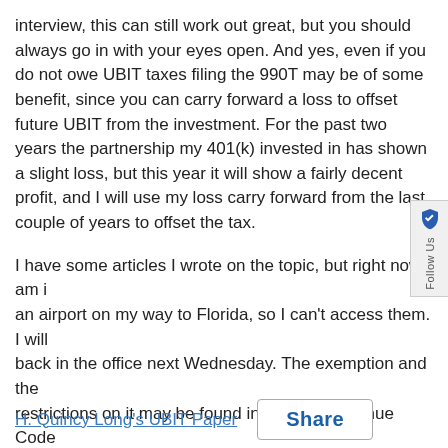interview, this can still work out great, but you should always go in with your eyes open.  And yes, even if you do not owe UBIT taxes filing the 990T may be of some benefit, since you can carry forward a loss to offset future UBIT from the investment.  For the past two years the partnership my 401(k) invested in has shown a slight loss, but this year it will show a fairly decent profit, and I will use my loss carry forward from the last couple of years to offset the tax.
I have some articles I wrote on the topic, but right now I am in an airport on my way to Florida, so I can't access them.  I will be back in the office next Wednesday.  The exemption and the restrictions on it may be found in Internal Revenue Code Section 514(c)(9).
I hope that helps some.  Have a great weekend!
H. Quincy Long's UBIT Paper